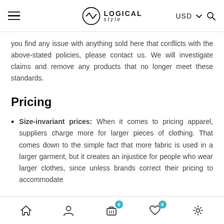≡   LOGICAL style   USD ∨ 🔍
you find any issue with anything sold here that conflicts with the above-stated policies, please contact us. We will investigate claims and remove any products that no longer meet these standards.
Pricing
Size-invariant prices: When it comes to pricing apparel, suppliers charge more for larger pieces of clothing. That comes down to the simple fact that more fabric is used in a larger garment, but it creates an injustice for people who wear larger clothes, since unless brands correct their pricing to accommodate
🏠  👤  🛒0  ♡0  ⚙